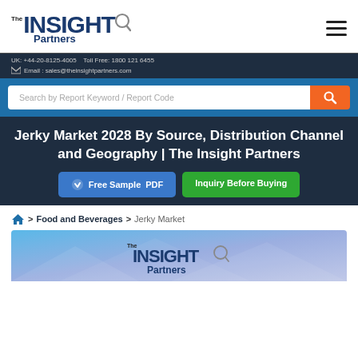The Insight Partners — UK: +44-20-8125-4005   Toll Free: 1800 121 6455   Email: sales@theinsightpartners.com
Search by Report Keyword / Report Code
Jerky Market 2028 By Source, Distribution Channel and Geography | The Insight Partners
Free Sample PDF   Inquiry Before Buying
Home > Food and Beverages > Jerky Market
[Figure (logo): The Insight Partners logo on blue abstract background report cover]